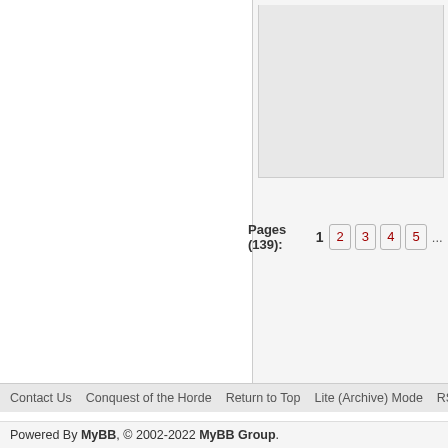[Figure (screenshot): Partial view of a forum post area with gray background, clipped at the top and right edges. Contains partial visible text: 'And m' and 'car. M' on the right side.]
And m
car. M
Pages (139):  1  2  3  4  5  ...  1
Contact Us   Conquest of the Horde   Return to Top   Lite (Archive) Mode   RSS
Powered By MyBB, © 2002-2022 MyBB Group.